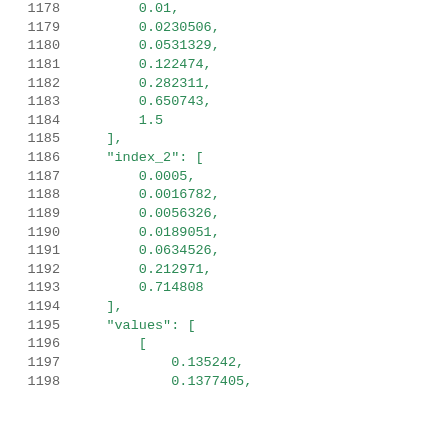Code listing lines 1178–1198 showing JSON array data with index_2 and values keys
1178: 0.01,
1179: 0.0230506,
1180: 0.0531329,
1181: 0.122474,
1182: 0.282311,
1183: 0.650743,
1184: 1.5
1185: ],
1186: "index_2": [
1187: 0.0005,
1188: 0.0016782,
1189: 0.0056326,
1190: 0.0189051,
1191: 0.0634526,
1192: 0.212971,
1193: 0.714808
1194: ],
1195: "values": [
1196: [
1197: 0.135242,
1198: 0.1377405,